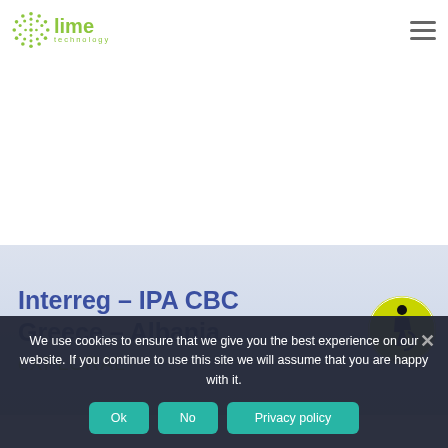[Figure (logo): Lime Technology logo with green dots circle and text 'lime technology']
[Figure (logo): Hamburger menu icon (three horizontal lines)]
[Figure (infographic): Interreg - IPA CBC Greece - Albania eXPLORAL banner with accessibility logo (person in wheelchair on yellow-green circle)]
We use cookies to ensure that we give you the best experience on our website. If you continue to use this site we will assume that you are happy with it.
Ok  No  Privacy policy